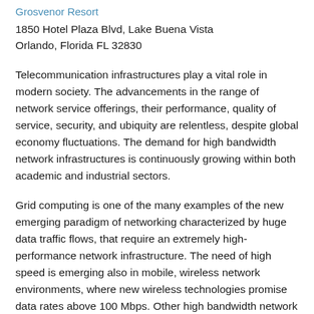Grosvenor Resort
1850 Hotel Plaza Blvd, Lake Buena Vista
Orlando, Florida FL 32830
Telecommunication infrastructures play a vital role in modern society. The advancements in the range of network service offerings, their performance, quality of service, security, and ubiquity are relentless, despite global economy fluctuations. The demand for high bandwidth network infrastructures is continuously growing within both academic and industrial sectors.
Grid computing is one of the many examples of the new emerging paradigm of networking characterized by huge data traffic flows, that require an extremely high-performance network infrastructure. The need of high speed is emerging also in mobile, wireless network environments, where new wireless technologies promise data rates above 100 Mbps. Other high bandwidth network examples include community access networks,